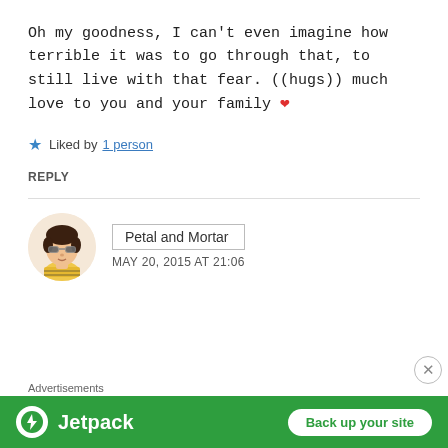Oh my goodness, I can't even imagine how terrible it was to go through that, to still live with that fear. ((hugs)) much love to you and your family ❤
★ Liked by 1 person
REPLY
[Figure (photo): Circular avatar of an animated girl with dark hair, sunglasses, and striped shirt on a light peach background]
Petal and Mortar
MAY 20, 2015 AT 21:06
[Figure (logo): Jetpack advertisement banner with green background, Jetpack logo, and 'Back up your site' button]
Advertisements